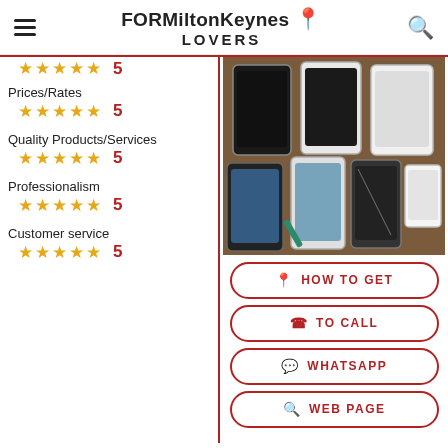FORMiltonKeynes LOVERS
Prices/Rates ★★★★★ 5
Quality Products/Services ★★★★★ 5
Professionalism ★★★★★ 5
Customer service ★★★★★ 5
[Figure (photo): Multiple smartphones and phone screens laid out on a wooden surface, some with cracked screens]
[Figure (infographic): Action buttons: HOW TO GET, TO CALL, WHATSAPP, WEB PAGE]